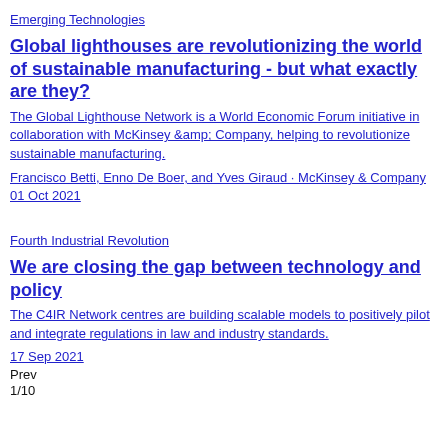Emerging Technologies
Global lighthouses are revolutionizing the world of sustainable manufacturing - but what exactly are they?
The Global Lighthouse Network is a World Economic Forum initiative in collaboration with McKinsey &amp; Company, helping to revolutionize sustainable manufacturing.
Francisco Betti, Enno De Boer, and Yves Giraud · McKinsey & Company 01 Oct 2021
Fourth Industrial Revolution
We are closing the gap between technology and policy
The C4IR Network centres are building scalable models to positively pilot and integrate regulations in law and industry standards.
17 Sep 2021
Prev
1/10